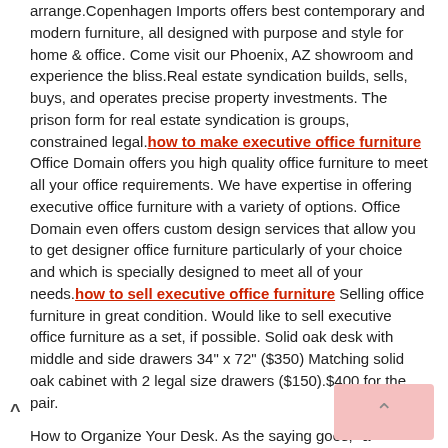arrange.Copenhagen Imports offers best contemporary and modern furniture, all designed with purpose and style for home & office. Come visit our Phoenix, AZ showroom and experience the bliss.Real estate syndication builds, sells, buys, and operates precise property investments. The prison form for real estate syndication is groups, constrained legal. how to make executive office furniture Office Domain offers you high quality office furniture to meet all your office requirements. We have expertise in offering executive office furniture with a variety of options. Office Domain even offers custom design services that allow you to get designer office furniture particularly of your choice and which is specially designed to meet all of your needs. how to sell executive office furniture Selling office furniture in great condition. Would like to sell executive office furniture as a set, if possible. Solid oak desk with middle and side drawers 34" x 72" ($350) Matching solid oak cabinet with 2 legal size drawers ($150).$400 for the pair.
How to Organize Your Desk. As the saying goes, "a cluttered desk is a sign of a cluttered mind." Keeping your workspace clean and organized can have a huge effect on your productivity, concentration, and ability to find everything you.